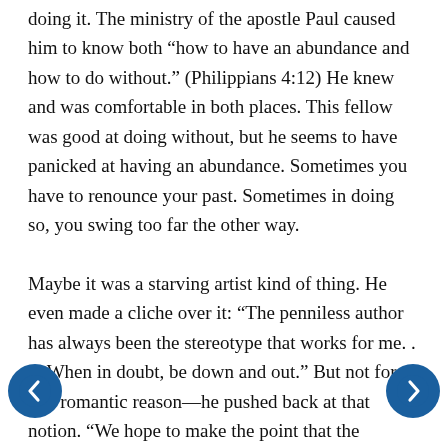doing it. The ministry of the apostle Paul caused him to know both “how to have an abundance and how to do without.” (Philippians 4:12) He knew and was comfortable in both places. This fellow was good at doing without, but he seems to have panicked at having an abundance. Sometimes you have to renounce your past. Sometimes in doing so, you swing too far the other way.

Maybe it was a starving artist kind of thing. He even made a cliche over it: “The penniless author has always been the stereotype that works for me. . . . When in doubt, be down and out.” But not for any romantic reason—he pushed back at that notion. “We hope to make the point that the creative process is really a defense mechanism on the part of artists —